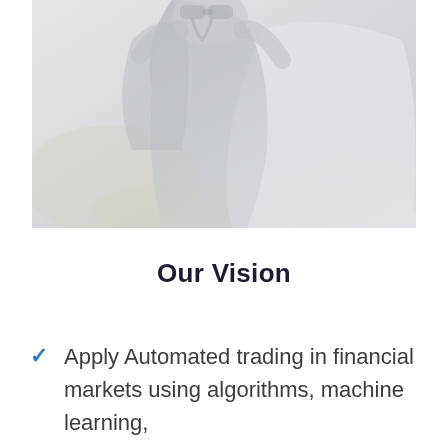[Figure (photo): Faded/washed-out photo of a person looking through binoculars outdoors, with muted gray and light tones.]
Our Vision
Apply Automated trading in financial markets using algorithms, machine learning,